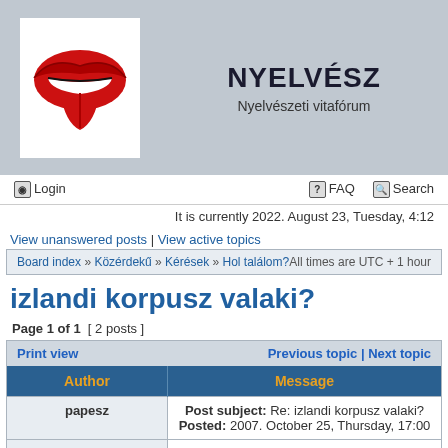[Figure (logo): Rolling Stones tongue logo (red lips and tongue on white background)]
NYELVÉSZ
Nyelvészeti vitafórum
Login | FAQ | Search
It is currently 2022. August 23, Tuesday, 4:12
View unanswered posts | View active topics
Board index » Közérdekű » Kérések » Hol találom? All times are UTC + 1 hour
izlandi korpusz valaki?
Page 1 of 1  [ 2 posts ]
| Author | Message |
| --- | --- |
| papesz | Post subject: Re: izlandi korpusz valaki?
Posted: 2007. October 25, Thursday, 17:00 |
| Joined: 2007. October 25, Thursday, 15:47
Posts: 1 | huncut felhocske wrote:
Csókolom, tud itt valaki izlandiul?
Vagy tud valakit aki tud izlandiul |